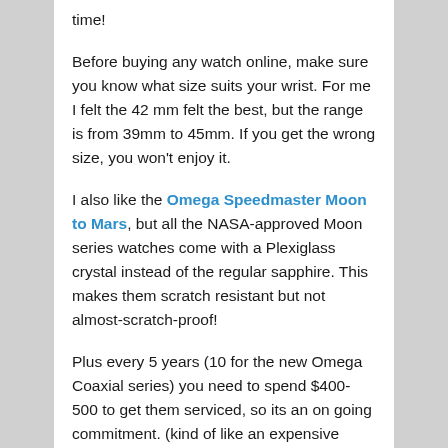time!
Before buying any watch online, make sure you know what size suits your wrist. For me I felt the 42 mm felt the best, but the range is from 39mm to 45mm. If you get the wrong size, you won't enjoy it.
I also like the Omega Speedmaster Moon to Mars, but all the NASA-approved Moon series watches come with a Plexiglass crystal instead of the regular sapphire. This makes them scratch resistant but not almost-scratch-proof!
Plus every 5 years (10 for the new Omega Coaxial series) you need to spend $400-500 to get them serviced, so its an on going commitment. (kind of like an expensive girlfriend)